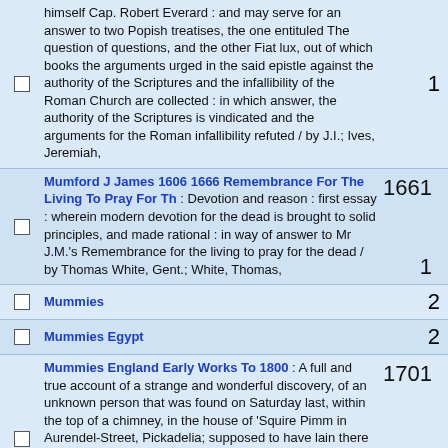himself Cap. Robert Everard : and may serve for an answer to two Popish treatises, the one entituled The question of questions, and the other Fiat lux, out of which books the arguments urged in the said epistle against the authority of the Scriptures and the infallibility of the Roman Church are collected : in which answer, the authority of the Scriptures is vindicated and the arguments for the Roman infallibility refuted / by J.I.; Ives, Jeremiah, [count: 1]
Mumford J James 1606 1666 Remembrance For The Living To Pray For Th : Devotion and reason : first essay : wherein modern devotion for the dead is brought to solid principles, and made rational : in way of answer to Mr J.M.'s Remembrance for the living to pray for the dead / by Thomas White, Gent.; White, Thomas, [year: 1661, count: 1]
Mummies [count: 2]
Mummies Egypt [count: 2]
Mummies England Early Works To 1800 : A full and true account of a strange and wonderful discovery, of an unknown person that was found on Saturday last, within the top of a chimney, in the house of 'Squire Pimm in Aurendel-Street, Pickadelia; supposed to have lain there for several years, his skin, and flesh being dry'd hard as shoeleather; with several strange circumstances relating thereto, the like having not been heard of in the memory of any man living.. [year: 1701, count: 1]